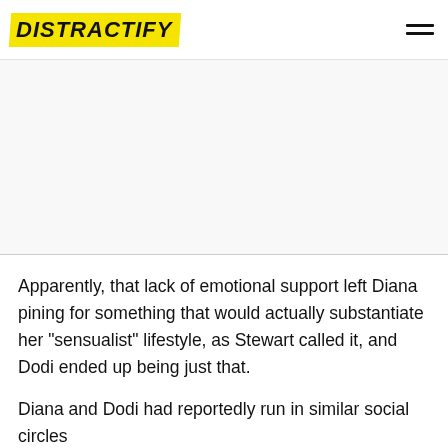DISTRACTIFY
[Figure (other): Advertisement/blank area placeholder below header]
Apparently, that lack of emotional support left Diana pining for something that would actually substantiate her "sensualist" lifestyle, as Stewart called it, and Dodi ended up being just that.
Diana and Dodi had reportedly run in similar social circles